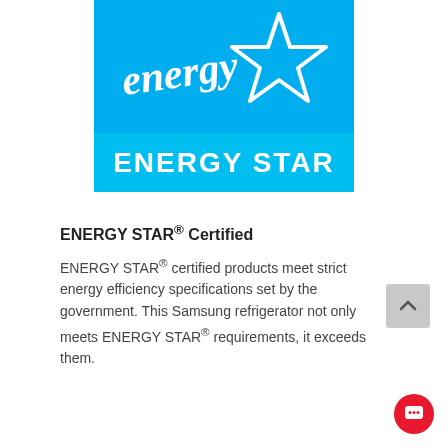[Figure (logo): ENERGY STAR logo — blue rectangle with white script 'energy' text and a white star outline, with 'ENERGY STAR' in bold white capital letters on a lighter blue band below]
ENERGY STAR® Certified
ENERGY STAR® certified products meet strict energy efficiency specifications set by the government. This Samsung refrigerator not only meets ENERGY STAR® requirements, it exceeds them.